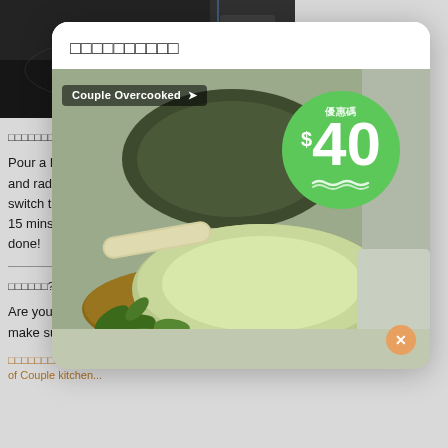[Figure (photo): Top portion of a black induction cooktop/stove with control buttons visible on the right side]
在鍋中放入所有所有材料，以大火加熱45分鐘，再以中火加熱15分鐘，最後再以小火加熱至收汁。
Pour a box of sm... and radish in. Le... switch the stove... 15 mins. Repeat... done!
想知道更多？ 請點擊以下連結:
Are you a big fan... make sure you a...
想了解更多資訊! 請點擊這裡 Ne... of Couple kitchen...
優惠碼申請
[Figure (photo): Advertisement showing green ceramic cookware (wok/frying pan) with a green discount badge showing $40 off coupon code. Branded as 'Couple Overcooked'. Pan is light green with cream handle, displayed on a wooden board with herbs. Dark green pan visible in background.]
Couple Overcooked — 優惠碼 $40